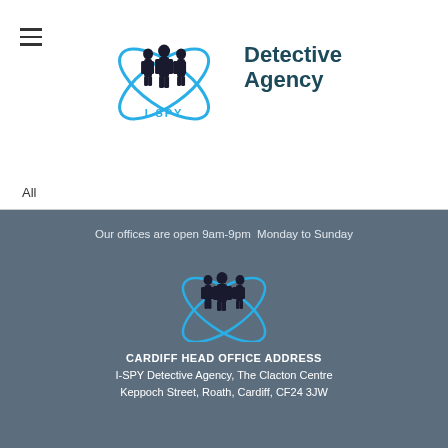[Figure (logo): I-SPY Detective Agency logo with silhouettes of figures and blue orbital rings, with text 'Detective Agency' and 'I-SPY']
All
[Figure (logo): RSS Feed icon (orange square with white radio waves)]
RSS Feed
Our offices are open 9am-9pm  Monday to Sunday
[Figure (logo): I-SPY Detective Agency footer logo with silhouettes and blue orbital rings]
CARDIFF HEAD OFFICE ADDRESS
I-SPY Detective Agency, The Clacton Centre
Keppoch Street, Roath, Cardiff, CF24 3JW